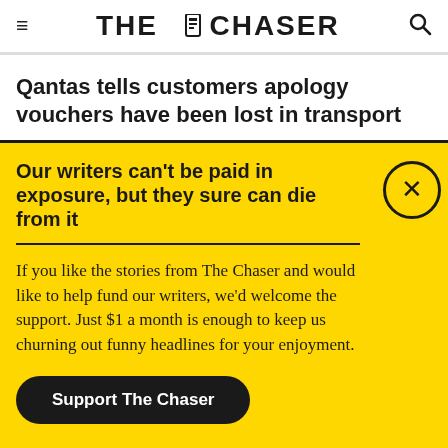THE CHASER
Qantas tells customers apology vouchers have been lost in transport
Our writers can't be paid in exposure, but they sure can die from it
If you like the stories from The Chaser and would like to help fund our writers, we'd welcome the support. Just $1 a month is enough to keep us churning out funny headlines for your enjoyment.
Support The Chaser
Sick of this popup? Click here to never see this again.